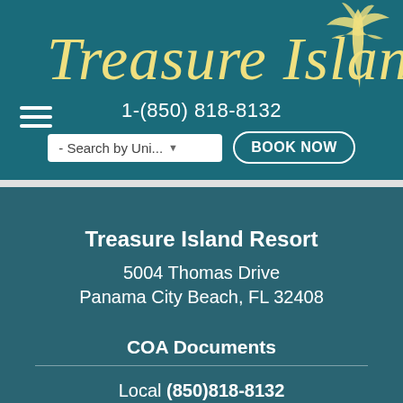[Figure (logo): Treasure Island resort logo with stylized script text and palm tree illustration, on teal background]
1-(850) 818-8132
- Search by Uni...
BOOK NOW
Treasure Island Resort
5004 Thomas Drive
Panama City Beach, FL 32408
COA Documents
Local (850)818-8132